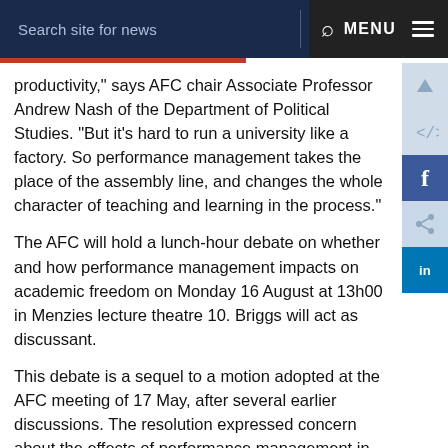Search site for news   MENU
productivity," says AFC chair Associate Professor Andrew Nash of the Department of Political Studies. "But it's hard to run a university like a factory. So performance management takes the place of the assembly line, and changes the whole character of teaching and learning in the process."
The AFC will hold a lunch-hour debate on whether and how performance management impacts on academic freedom on Monday 16 August at 13h00 in Menzies lecture theatre 10. Briggs will act as discussant.
This debate is a sequel to a motion adopted at the AFC meeting of 17 May, after several earlier discussions. The resolution expressed concern about the effects of performance management in pressurising academics into choosing research topics that lead to quick publication in accredited journals, rather than taking on